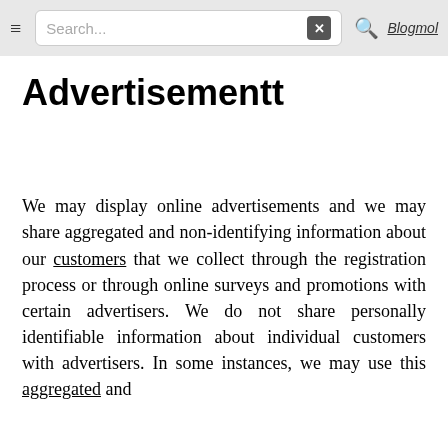≡  Search...  ✕  🔍  Blogmol
Advertisementt
We may display online advertisements and we may share aggregated and non-identifying information about our customers that we collect through the registration process or through online surveys and promotions with certain advertisers. We do not share personally identifiable information about individual customers with advertisers. In some instances, we may use this aggregated and